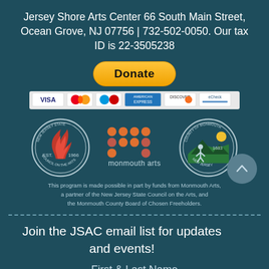Jersey Shore Arts Center 66 South Main Street, Ocean Grove, NJ 07756 | 732-502-0050. Our tax ID is 22-3505238
[Figure (other): PayPal Donate button with payment card icons (Visa, Mastercard, American Express, Discover, and eCheck)]
[Figure (other): Three logos: New Jersey State Council on the Arts (Est. 1966), Monmouth Arts, and County of Monmouth New Jersey (1683)]
This program is made possible in part by funds from Monmouth Arts, a partner of the New Jersey State Council on the Arts, and the Monmouth County Board of Chosen Freeholders.
Join the JSAC email list for updates and events!
First & Last Name